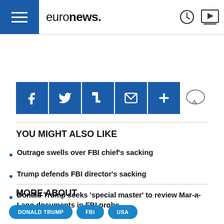euronews.
[Figure (infographic): Social share buttons: Facebook, Twitter, Flipboard, Email, More, Comment]
YOU MIGHT ALSO LIKE
Outrage swells over FBI chief's sacking
Trump defends FBI director's sacking
Donald Trump seeks 'special master' to review Mar-a-Lago documents in FBI probe
MORE ABOUT
DONALD TRUMP
FBI
USA